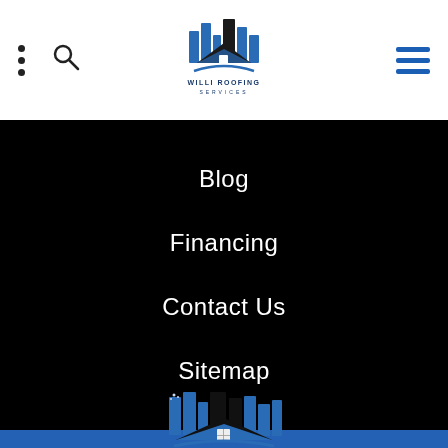[Figure (logo): Willi Roofing Services logo in white header bar, showing city skyline with rooftop and company name]
Blog
Financing
Contact Us
Sitemap
[Figure (logo): Willi Roofing Services large logo on blue background with city skyline and roof graphic]
FREE ESTIMATE